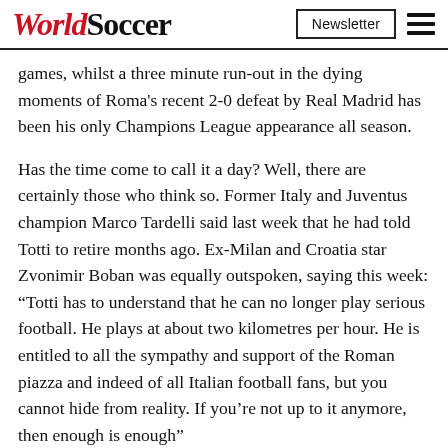WorldSoccer | Newsletter
games, whilst a three minute run-out in the dying moments of Roma's recent 2-0 defeat by Real Madrid has been his only Champions League appearance all season.
Has the time come to call it a day? Well, there are certainly those who think so. Former Italy and Juventus champion Marco Tardelli said last week that he had told Totti to retire months ago. Ex-Milan and Croatia star Zvonimir Boban was equally outspoken, saying this week: “Totti has to understand that he can no longer play serious football. He plays at about two kilometres per hour. He is entitled to all the sympathy and support of the Roman piazza and indeed of all Italian football fans, but you cannot hide from reality. If you’re not up to it anymore, then enough is enough”
The problem here, however, is that Totti does not seem to agree. T[...] l Madrid, [...] hich he